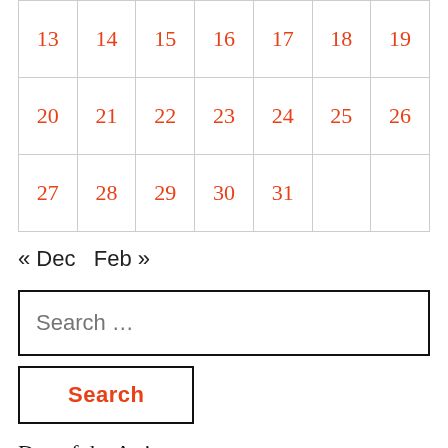| Sun | Mon | Tue | Wed | Thu | Fri | Sat |
| --- | --- | --- | --- | --- | --- | --- |
| 13 | 14 | 15 | 16 | 17 | 18 | 19 |
| 20 | 21 | 22 | 23 | 24 | 25 | 26 |
| 27 | 28 | 29 | 30 | 31 |  |  |
« Dec   Feb »
Search ...
Search
Day of the Artist